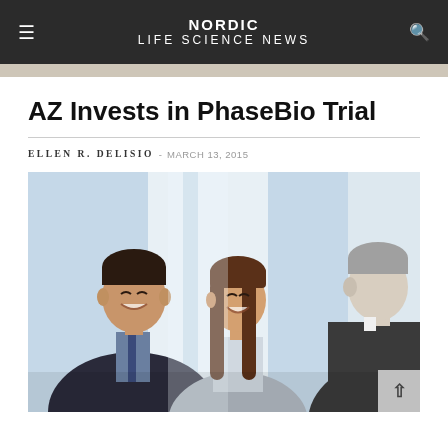NORDIC LIFE SCIENCE NEWS
AZ Invests in PhaseBio Trial
ELLEN R. DELISIO - MARCH 13, 2015
[Figure (photo): Three business professionals smiling and talking in an office setting: a young man in a dark suit on the left, a woman with long brown hair in the center, and an older gray-haired man viewed from behind on the right.]